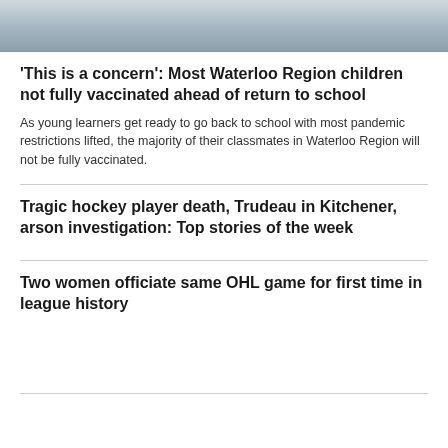[Figure (photo): Top portion of a photo showing students or children in a classroom or school setting, cropped to show the top edge only.]
'This is a concern': Most Waterloo Region children not fully vaccinated ahead of return to school
As young learners get ready to go back to school with most pandemic restrictions lifted, the majority of their classmates in Waterloo Region will not be fully vaccinated.
Tragic hockey player death, Trudeau in Kitchener, arson investigation: Top stories of the week
Two women officiate same OHL game for first time in league history